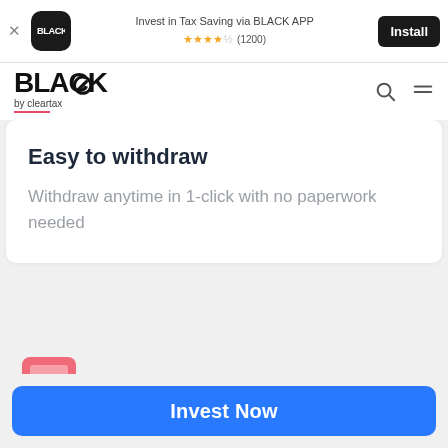[Figure (screenshot): Ad banner for BLACK APP - Invest in Tax Saving via BLACK APP, 4.5 stars (1200 reviews), Install button]
[Figure (logo): BLACK by cleartax logo with search and menu icons in navigation bar]
Easy to withdraw
Withdraw anytime in 1-click with no paperwork needed
[Figure (illustration): Pink calculator icon]
Invest Now